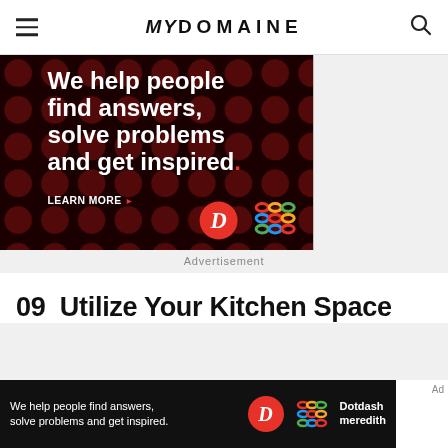MYDOMAINE
[Figure (illustration): Black background advertisement with red polka dot pattern. Text reads: We help people find answers, solve problems and get inspired. LEARN MORE with arrow. Dotdash D logo circle and colorful lattice logo at bottom right.]
Advertisement
09 Utilize Your Kitchen Space
[Figure (illustration): Small banner ad on black background: We help people find answers, solve problems and get inspired. Dotdash D circle logo and Dotdash meredith colorful logo with text.]